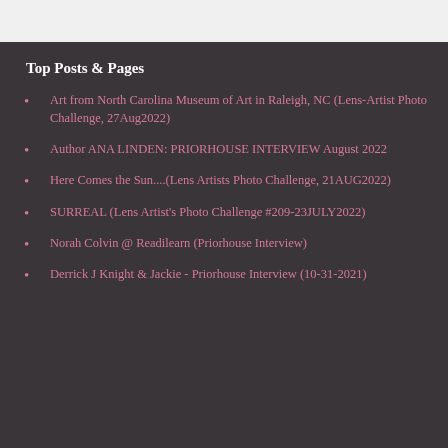Top Posts & Pages
Art from North Carolina Museum of Art in Raleigh, NC (Lens-Artist Photo Challenge, 27Aug2022)
Author ANA LINDEN: PRIORHOUSE INTERVIEW August 2022
Here Comes the Sun....(Lens Artists Photo Challenge, 21AUG2022)
SURREAL (Lens Artist's Photo Challenge #209-23JULY2022)
Norah Colvin @ Readilearn (Priorhouse Interview)
Derrick J Knight & Jackie - Priorhouse Interview (10-31-2021)